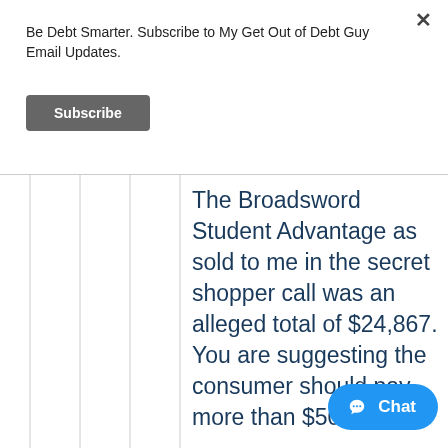Be Debt Smarter. Subscribe to My Get Out of Debt Guy Email Updates.
Subscribe
The Broadsword Student Advantage as sold to me in the secret shopper call was an alleged total of $24,867. You are suggesting the consumer should pay more than $50.